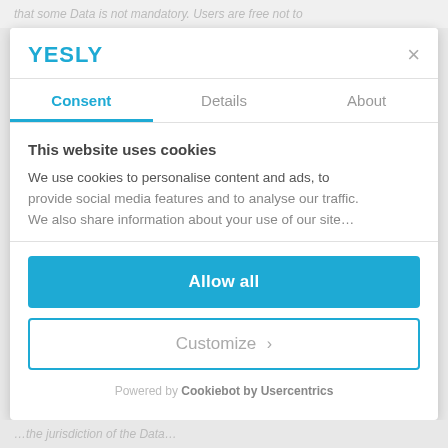that some Data is not mandatory. Users are free not to
[Figure (screenshot): YESLY logo in blue text]
×
Consent
Details
About
This website uses cookies
We use cookies to personalise content and ads, to provide social media features and to analyse our traffic. We also share information about your use of our site…
Allow all
Customize ›
Powered by Cookiebot by Usercentrics
…the jurisdiction of the Data…